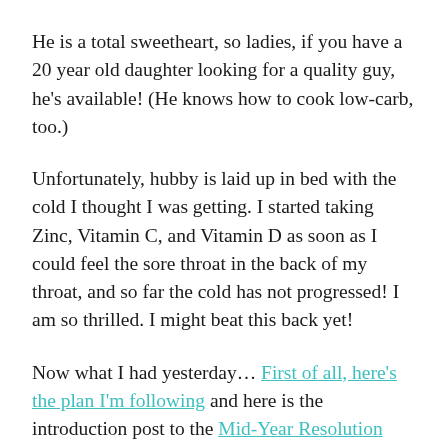He is a total sweetheart, so ladies, if you have a 20 year old daughter looking for a quality guy, he's available! (He knows how to cook low-carb, too.)
Unfortunately, hubby is laid up in bed with the cold I thought I was getting. I started taking Zinc, Vitamin C, and Vitamin D as soon as I could feel the sore throat in the back of my throat, and so far the cold has not progressed! I am so thrilled. I might beat this back yet!
Now what I had yesterday… First of all, here's the plan I'm following and here is the introduction post to the Mid-Year Resolution